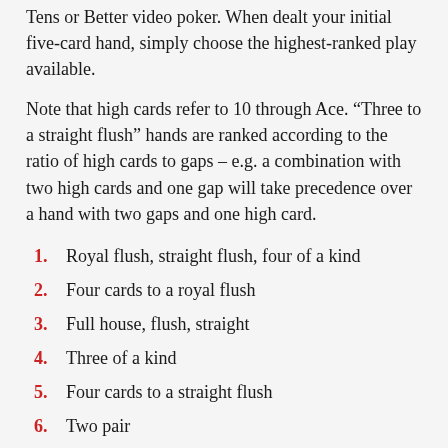Tens or Better video poker. When dealt your initial five-card hand, simply choose the highest-ranked play available.
Note that high cards refer to 10 through Ace. “Three to a straight flush” hands are ranked according to the ratio of high cards to gaps – e.g. a combination with two high cards and one gap will take precedence over a hand with two gaps and one high card.
Royal flush, straight flush, four of a kind
Four cards to a royal flush
Full house, flush, straight
Three of a kind
Four cards to a straight flush
Two pair
Pair of Tens, Jacks, Queens, Kings, or Aces